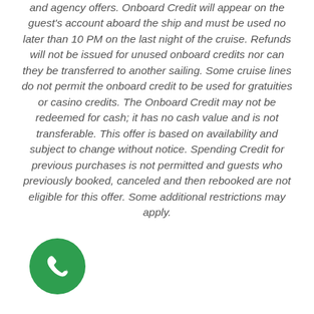and agency offers. Onboard Credit will appear on the guest's account aboard the ship and must be used no later than 10 PM on the last night of the cruise. Refunds will not be issued for unused onboard credits nor can they be transferred to another sailing. Some cruise lines do not permit the onboard credit to be used for gratuities or casino credits. The Onboard Credit may not be redeemed for cash; it has no cash value and is not transferable. This offer is based on availability and subject to change without notice. Spending Credit for previous purchases is not permitted and guests who previously booked, canceled and then rebooked are not eligible for this offer. Some additional restrictions may apply.
[Figure (illustration): Green circular phone icon with white telephone handset symbol]